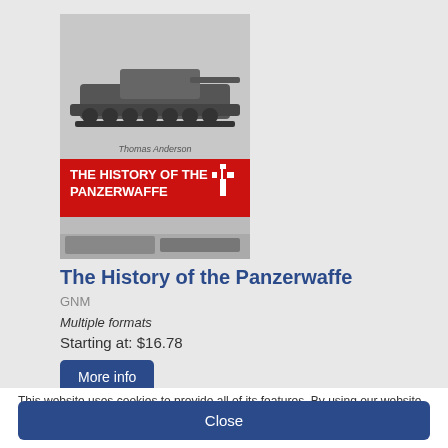[Figure (illustration): Book cover of 'The History of the Panzerwaffe Volume 1, 1939-42' by Thomas Anderson, showing black-and-white photographs of tanks with a red banner and title text.]
The History of the Panzerwaffe
GNM
Multiple formats
Starting at: $16.78
More info
This website uses cookies to provide all of its features. By using our website you consent to all cookies in accordance with our Cookie Policy.
Close